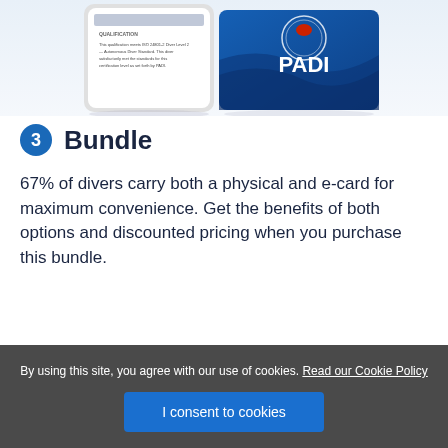[Figure (photo): Screenshot of a PADI certification card display on a smartphone next to a physical blue PADI certification card with the diver logo and globe graphic.]
3 Bundle
67% of divers carry both a physical and e-card for maximum convenience. Get the benefits of both options and discounted pricing when you purchase this bundle.
By using this site, you agree with our use of cookies. Read our Cookie Policy
I consent to cookies